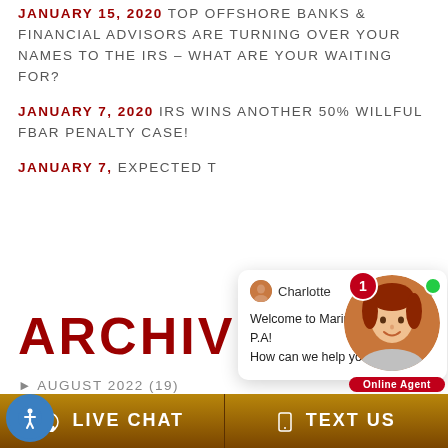JANUARY 15, 2020 TOP OFFSHORE BANKS & FINANCIAL ADVISORS ARE TURNING OVER YOUR NAMES TO THE IRS – WHAT ARE YOUR WAITING FOR?
JANUARY 7, 2020 IRS WINS ANOTHER 50% WILLFUL FBAR PENALTY CASE!
JANUARY 7, ... EXPECTED T...
[Figure (screenshot): Live chat popup from Charlotte at Marini & Associates, P.A. with message: Welcome to Marini & Associates, P.A! How can we help you?]
ARCHIVES
AUGUST 2022 (19)
[Figure (photo): Online agent avatar of Charlotte (woman with red/auburn hair), with green online dot and red notification badge showing 1, and Online Agent label]
LIVE CHAT   TEXT US